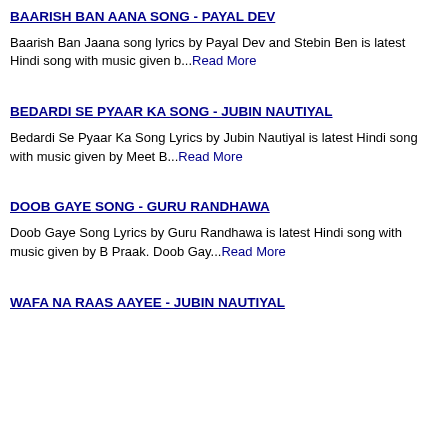BAARISH BAN AANA SONG - PAYAL DEV
Baarish Ban Jaana song lyrics by Payal Dev and Stebin Ben is latest Hindi song with music given b...Read More
BEDARDI SE PYAAR KA SONG - JUBIN NAUTIYAL
Bedardi Se Pyaar Ka Song Lyrics by Jubin Nautiyal is latest Hindi song with music given by Meet B...Read More
DOOB GAYE SONG - GURU RANDHAWA
Doob Gaye Song Lyrics by Guru Randhawa is latest Hindi song with music given by B Praak. Doob Gay...Read More
WAFA NA RAAS AAYEE - JUBIN NAUTIYAL